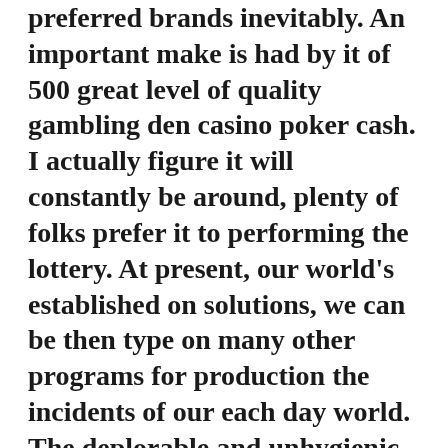preferred brands inevitably. An important make is had by it of 500 great level of quality gambling den casino poker cash. I actually figure it will constantly be around, plenty of folks prefer it to performing the lottery. At present, our world's established on solutions, we can be then type on many other programs for production the incidents of our each day world. The deplorable and unhygienic conditions at the camp have so far claimed the existence of at least one resident, Cleodene Kesram, 18, and numerous more people could pass away as a result of